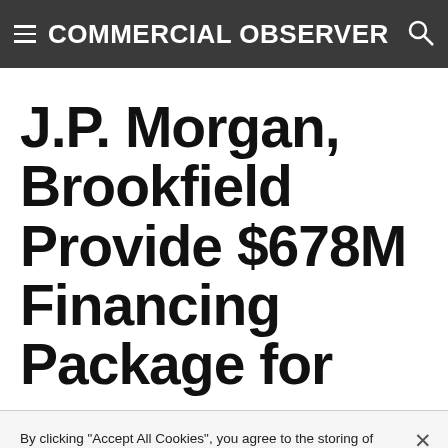COMMERCIAL OBSERVER
J.P. Morgan, Brookfield Provide $678M Financing Package for
By clicking "Accept All Cookies", you agree to the storing of cookies on your device to enhance site navigation, analyze site usage, and assist in our marketing efforts.
Cookies Settings  Accept All Cookies